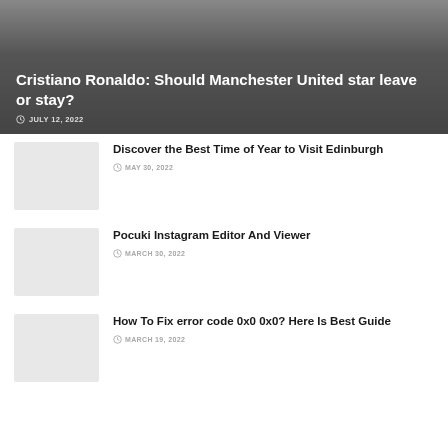Cristiano Ronaldo: Should Manchester United star leave or stay?
JULY 12, 2022
Discover the Best Time of Year to Visit Edinburgh
MAY 30, 2022
Pocuki Instagram Editor And Viewer
MARCH 30, 2022
How To Fix error code 0x0 0x0? Here Is Best Guide
MARCH 19, 2022